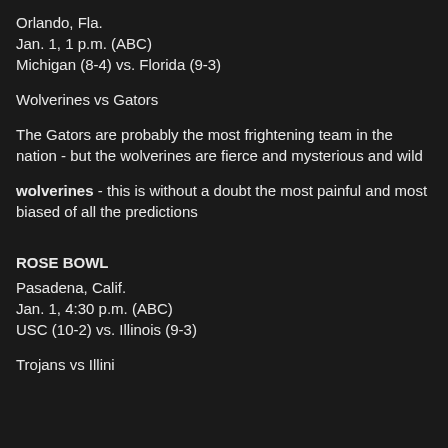Orlando, Fla.
Jan. 1, 1 p.m. (ABC)
Michigan (8-4) vs. Florida (9-3)
Wolverines vs Gators
The Gators are probably the most frightening team in the nation - but the wolverines are fierce and mysterious and wild
wolverines - this is without a doubt the most painful and most biased of all the predictions
ROSE BOWL
Pasadena, Calif.
Jan. 1, 4:30 p.m. (ABC)
USC (10-2) vs. Illinois (9-3)
Trojans vs Illini